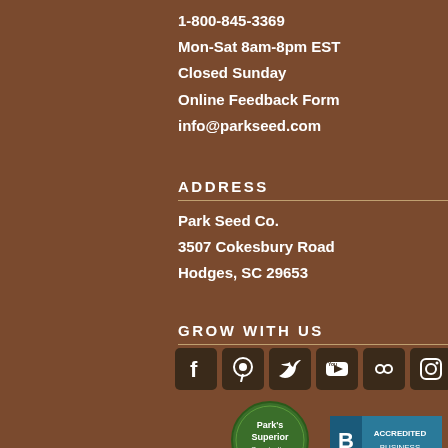1-800-845-3369
Mon-Sat 8am-8pm EST
Closed Sunday
Online Feedback Form
info@parkseed.com
ADDRESS
Park Seed Co.
3507 Cokesbury Road
Hodges, SC 29653
GROW WITH US
[Figure (infographic): Social media icons: Facebook, Pinterest, Twitter, YouTube, Flickr, Instagram]
[Figure (logo): Park's Superior Germination Certification badge (green circular badge)]
[Figure (logo): BBB Accredited Business badge (teal/blue rectangular badge)]